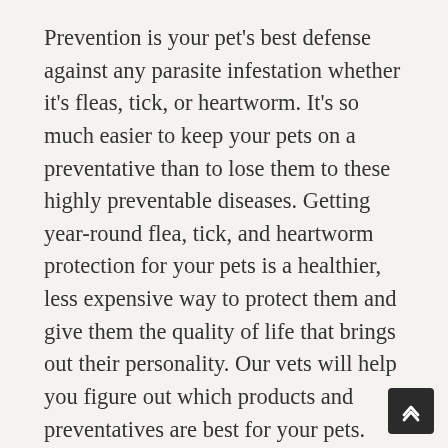Prevention is your pet's best defense against any parasite infestation whether it's fleas, tick, or heartworm. It's so much easier to keep your pets on a preventative than to lose them to these highly preventable diseases. Getting year-round flea, tick, and heartworm protection for your pets is a healthier, less expensive way to protect them and give them the quality of life that brings out their personality. Our vets will help you figure out which products and preventatives are best for your pets.
At Bannon Woods Veterinary Hospital, we treat every pet patient as if they are our own. So your pets are sure to receive compassionate care from our team of board...